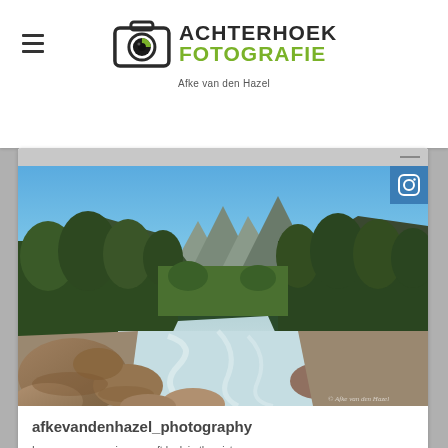[Figure (logo): Achterhoek Fotografie logo with camera shutter icon, green and dark text, subtitle 'Afke van den Hazel']
[Figure (photo): Long exposure landscape photo of a mountain river with smooth flowing water, large rocks in foreground, green trees on both sides, mountains and blue sky in background. French Alps. Instagram icon in top right corner.]
afkevandenhazel_photography
Long exposures gives a soft look in the picture #photography #longexposurephotography #alpes #mountains #frenchalps